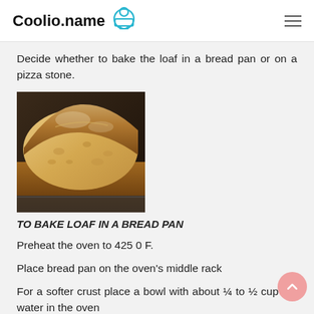Coolio.name
Decide whether to bake the loaf in a bread pan or on a pizza stone.
[Figure (photo): Close-up photo of a baked bread loaf showing texture and crust]
TO BAKE LOAF IN A BREAD PAN
Preheat the oven to 425 0 F.
Place bread pan on the oven's middle rack
For a softer crust place a bowl with about ¼ to ½ cup hot water in the oven